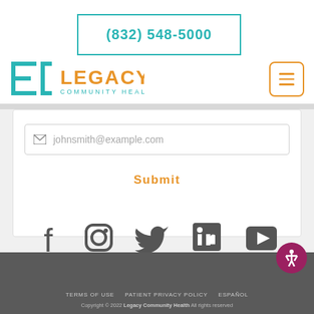(832) 548-5000
[Figure (logo): Legacy Community Health logo with teal bracket and orange text]
johnsmith@example.com
Submit
[Figure (infographic): Social media icons: Facebook, Instagram, Twitter, LinkedIn, YouTube]
TERMS OF USE   PATIENT PRIVACY POLICY   ESPAÑOL   Copyright © 2022 Legacy Community Health All rights reserved